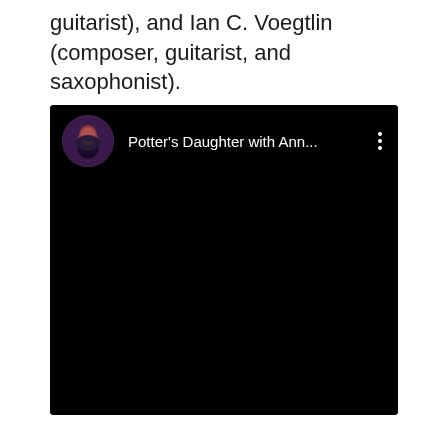guitarist), and Ian C. Voegtlin (composer, guitarist, and saxophonist).
[Figure (screenshot): Embedded YouTube-style video player with black background. The video header shows a circular avatar thumbnail of a performer with reddish hair singing into a microphone against a blue background, followed by the text 'Potter's Daughter with Ann...' in white, and a three-dot vertical menu icon on the right. The video content area is entirely black.]